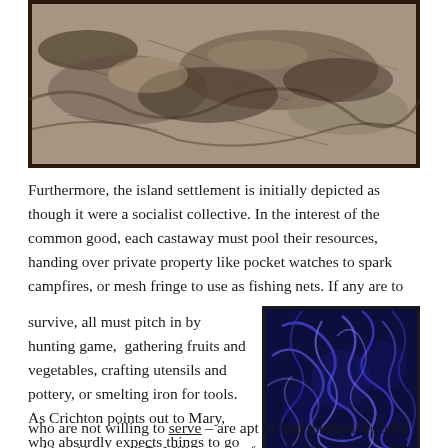[Figure (photo): Black and white sepia-toned photograph showing people lying or resting on the ground among debris or foliage, viewed from above.]
Furthermore, the island settlement is initially depicted as though it were a socialist collective. In the interest of the common good, each castaway must pool their resources, handing over private property like pocket watches to spark campfires, or mesh fringe to use as fishing nets. If any are to survive, all must pitch in by hunting game,  gathering fruits and vegetables, crafting utensils and pottery, or smelting iron for tools. As Crichton points out to Mary, who absurdly expects things to go on as before, “Those who are not willing to serve – are apt to find themselves both cold and hungry!” DeMille goes so far toward holding up this
[Figure (photo): Dark blue-tinted image showing tangled organic shapes, possibly roots, worms, or fibrous material, on a dark background.]